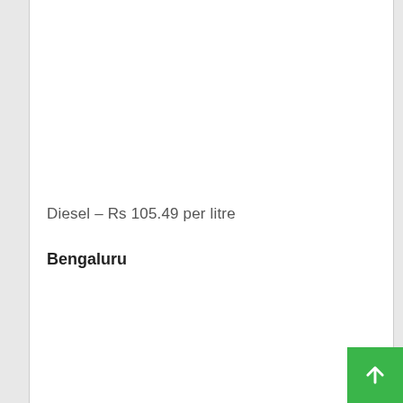Diesel – Rs 105.49 per litre
Bengaluru